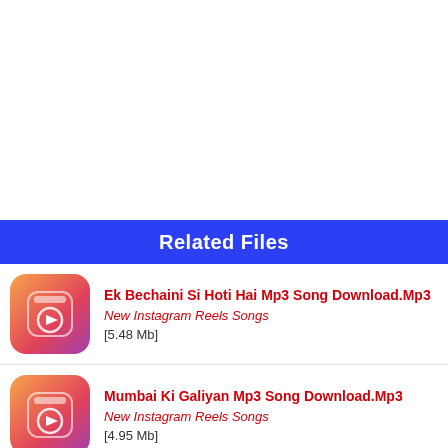Related Files
Ek Bechaini Si Hoti Hai Mp3 Song Download.Mp3
New Instagram Reels Songs
[5.48 Mb]
Mumbai Ki Galiyan Mp3 Song Download.Mp3
New Instagram Reels Songs
[4.95 Mb]
Dil Wale Puchde Ne Cha MP3 Song Download Mr Jatt.Mp3
New Instagram Reels Songs